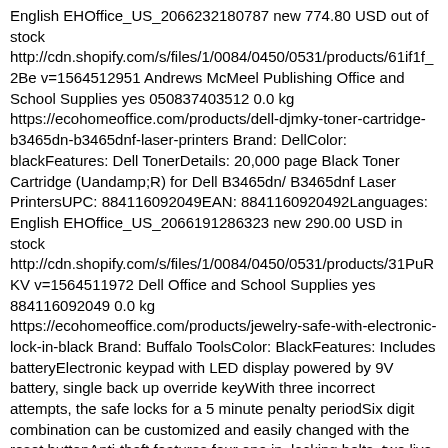English EHOffice_US_2066232180787 new 774.80 USD out of stock http://cdn.shopify.com/s/files/1/0084/0450/0531/products/61if1f_2Be v=1564512951 Andrews McMeel Publishing Office and School Supplies yes 050837403512 0.0 kg https://ecohomeoffice.com/products/dell-djmky-toner-cartridge-b3465dn-b3465dnf-laser-printers Brand: DellColor: blackFeatures: Dell TonerDetails: 20,000 page Black Toner Cartridge (Uandamp;R) for Dell B3465dn/ B3465dnf Laser PrintersUPC: 884116092049EAN: 8841160920492Languages: English EHOffice_US_2066191286323 new 290.00 USD in stock http://cdn.shopify.com/s/files/1/0084/0450/0531/products/31PuRKV v=1564511972 Dell Office and School Supplies yes 884116092049 0.0 kg https://ecohomeoffice.com/products/jewelry-safe-with-electronic-lock-in-black Brand: Buffalo ToolsColor: BlackFeatures: Includes batteryElectronic keypad with LED display powered by 9V battery, single back up override keyWith three incorrect attempts, the safe locks for a 5 minute penalty periodSix digit combination can be customized and easily changed with the reset buttonAnti-theft features four one in. locking bolts, two live and two dead, solid steel 16 gauge steel body and door, 1.5mm thickDetails: Includes battery. Electronic keypad with LED display powered by 9V battery, single back up override key. With three incorrect attempts, the safe locks for a 5 minute penalty period. Six digit combination can be customized and easily